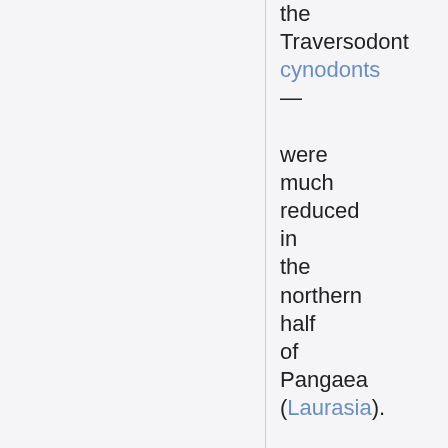the Traversodont cynodonts — were much reduced in the northern half of Pangaea (Laurasia). These extinctions